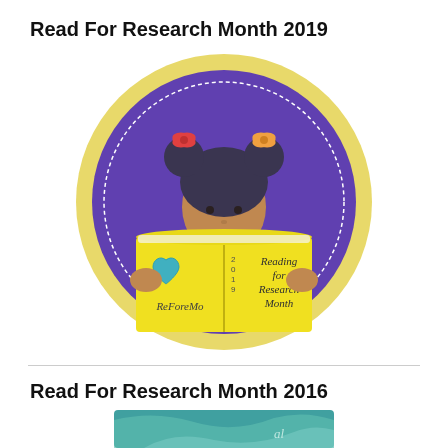Read For Research Month 2019
[Figure (illustration): Circular badge with purple background and gold leaf border. A cartoon girl with dark bun pigtails held with red bows is reading a large yellow book. Left page shows a teal heart and text 'ReForeMo'. Right page shows '2019' vertically and 'Reading for Research Month'. The girl wears a red top.]
Read For Research Month 2016
[Figure (illustration): Partial view of another Read For Research Month illustration, cropped at the bottom edge of the page.]